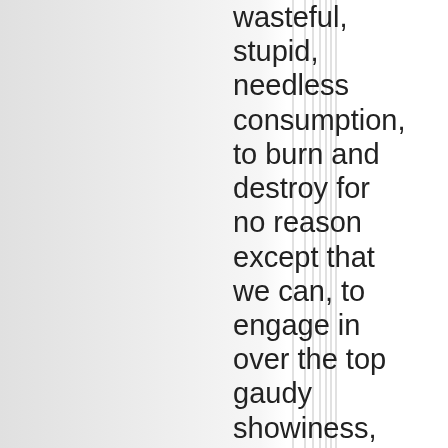wasteful, stupid, needless consumption, to burn and destroy for no reason except that we can, to engage in over the top gaudy showiness, not in design, not in efficient, modern, functional and beautiful items, cars and homes, which with good education